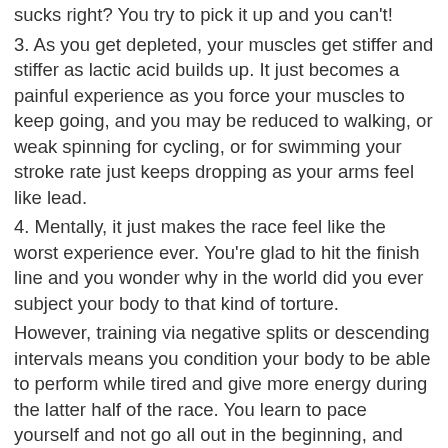sucks right? You try to pick it up and you can't!
3. As you get depleted, your muscles get stiffer and stiffer as lactic acid builds up. It just becomes a painful experience as you force your muscles to keep going, and you may be reduced to walking, or weak spinning for cycling, or for swimming your stroke rate just keeps dropping as your arms feel like lead.
4. Mentally, it just makes the race feel like the worst experience ever. You're glad to hit the finish line and you wonder why in the world did you ever subject your body to that kind of torture.
However, training via negative splits or descending intervals means you condition your body to be able to perform while tired and give more energy during the latter half of the race. You learn to pace yourself and not go all out in the beginning, and your body learns to give that extra kick in second half while your energy levels begin to wane.
In every workout I do, I try to always finish with more effort than I begin. I slowly ramp effort and speed throughout a